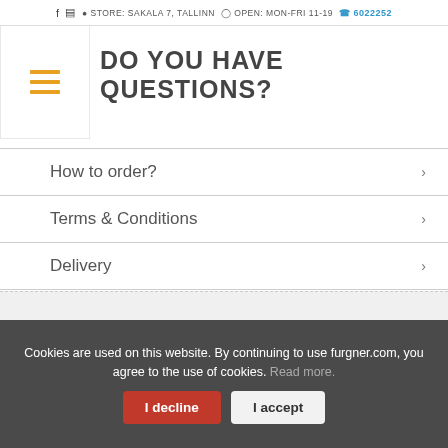f  ☷  STORE: SAKALA 7, TALLINN  OPEN: MON-FRI 11-19  6022252
DO YOU HAVE QUESTIONS?
How to order?
Terms & Conditions
Delivery
Returns
Warranty
Cookies are used on this website. By continuing to use furgner.com, you agree to the use of cookies. Read more.